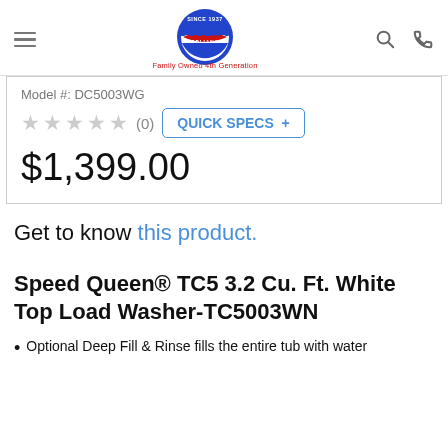Busen's Appliance — Family Owned 4th Generation
Model #: DC5003WG
★★★★★ (0)   QUICK SPECS +
$1,399.00
Get to know this product.
Speed Queen® TC5 3.2 Cu. Ft. White Top Load Washer-TC5003WN
Optional Deep Fill & Rinse fills the entire tub with water